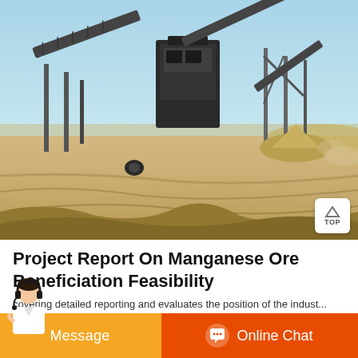[Figure (photo): Mining/crushing plant with conveyor belts and machinery on a sandy/dusty site under blue sky]
Project Report On Manganese Ore Beneficiation Feasibility
Detailed Project Report (DPR) on manganese ore beneficiation
present Market Position and Expected Future Demand, Technology,
covering detailed reporting and evaluates the position of the indust...